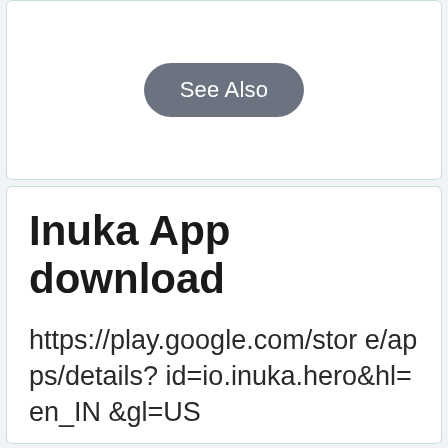[Figure (other): A rounded pill-shaped button with dark grey background and white text reading 'See Also']
Inuka App download
https://play.google.com/store/apps/details?id=io.inuka.hero&hl=en_IN&gl=US
All you have to do is download our app, take a free test to see how you are doing, select your preferred time and